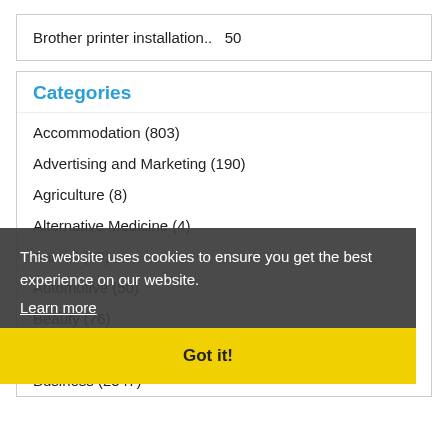Brother printer installation..    50
Categories
Accommodation (803)
Advertising and Marketing (190)
Agriculture (8)
Alternative Medicine (4)
Animal (69)
Automotive (50)
Beauty (76)
Booking (14)
Business (2347)
This website uses cookies to ensure you get the best experience on our website.
Learn more
Got it!